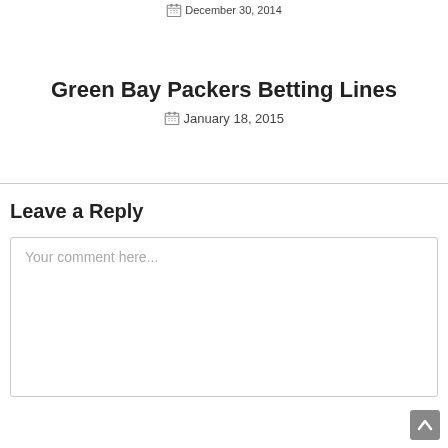December 30, 2014
Green Bay Packers Betting Lines
January 18, 2015
Leave a Reply
Your comment here...